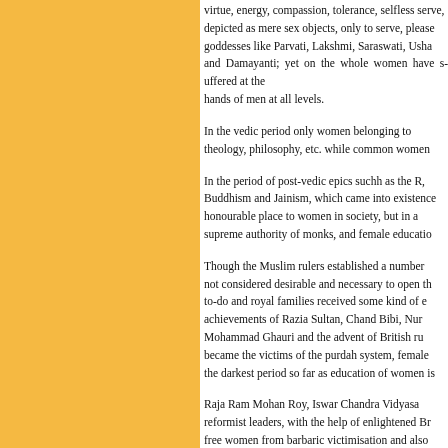virtue, energy, compassion, tolerance, selfless service, depicted as mere sex objects, only to serve, please goddesses like Parvati, Lakshmi, Saraswati, Usha and Damayanti; yet on the whole women have suffered at the hands of men at all levels.
In the vedic period only women belonging to theology, philosophy, etc. while common women
In the period of post-vedic epics suchh as the R Buddhism and Jainism, which came into existence honourable place to women in society, but in a supreme authority of monks, and female educatio
Though the Muslim rulers established a number not considered desirable and necessary to open th to-do and royal families received some kind of e achievements of Razia Sultan, Chand Bibi, Nur Mohammad Ghauri and the advent of British ru became the victims of the purdah system, female the darkest period so far as education of women is
Raja Ram Mohan Roy, Iswar Chandra Vidyasa reformist leaders, with the help of enlightened Br free women from barbaric victimisation and also exclusively for women, came up in Bengal, Mad institutions of higher learning were also opened and Women s University were established in 191